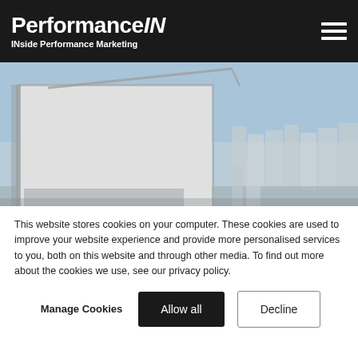PerformanceIN — INside Performance Marketing
[Figure (photo): A large blank white billboard mounted on scaffolding with a crane arm visible behind it. Urban apartment buildings and a construction site are visible in the background under a blue sky.]
This website stores cookies on your computer. These cookies are used to improve your website experience and provide more personalised services to you, both on this website and through other media. To find out more about the cookies we use, see our privacy policy.
Manage Cookies   Allow all   Decline